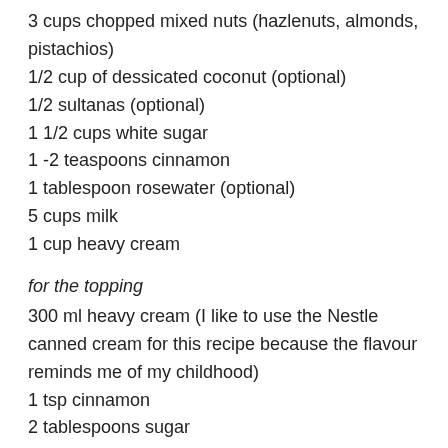3 cups chopped mixed nuts (hazlenuts, almonds, pistachios)
1/2 cup of dessicated coconut (optional)
1/2 sultanas (optional)
1 1/2 cups white sugar
1 -2 teaspoons cinnamon
1 tablespoon rosewater (optional)
5 cups milk
1 cup heavy cream
for the topping
300 ml heavy cream (I like to use the Nestle canned cream for this recipe because the flavour reminds me of my childhood)
1 tsp cinnamon
2 tablespoons sugar